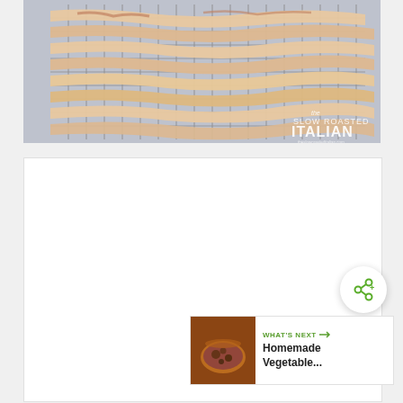[Figure (photo): Raw bacon strips laid out on a wire cooling rack over foil. Watermark reads 'The Slow Roasted Italian' in white text at bottom right.]
[Figure (other): White rectangular content area placeholder below the bacon photo.]
[Figure (other): Round white share button with a share/network icon in green.]
[Figure (other): What's Next widget showing a thumbnail of a vegetable soup bowl and text 'WHAT'S NEXT → Homemade Vegetable...']